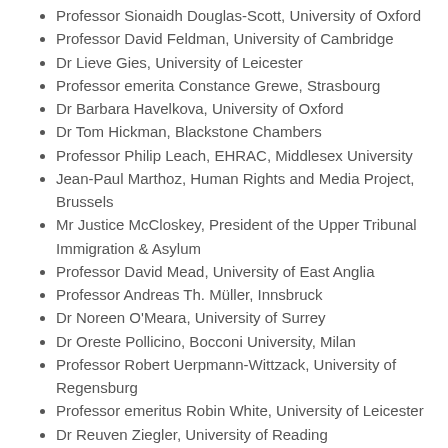Professor Sionaidh Douglas-Scott, University of Oxford
Professor David Feldman, University of Cambridge
Dr Lieve Gies, University of Leicester
Professor emerita Constance Grewe, Strasbourg
Dr Barbara Havelkova, University of Oxford
Dr Tom Hickman, Blackstone Chambers
Professor Philip Leach, EHRAC, Middlesex University
Jean-Paul Marthoz, Human Rights and Media Project, Brussels
Mr Justice McCloskey, President of the Upper Tribunal Immigration & Asylum
Professor David Mead, University of East Anglia
Professor Andreas Th. Müller, Innsbruck
Dr Noreen O'Meara, University of Surrey
Dr Oreste Pollicino, Bocconi University, Milan
Professor Robert Uerpmann-Wittzack, University of Regensburg
Professor emeritus Robin White, University of Leicester
Dr Reuven Ziegler, University of Reading